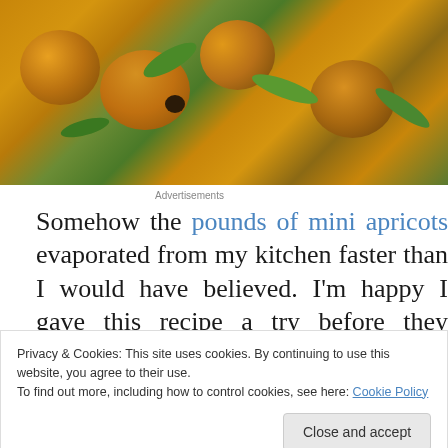[Figure (photo): Close-up food photo of grilled mini apricots with green herbs/arugula on a plate]
Advertisements
Somehow the pounds of mini apricots evaporated from my kitchen faster than I would have believed. I'm happy I gave this recipe a try before they finished evaporating. My grill
Privacy & Cookies: This site uses cookies. By continuing to use this website, you agree to their use.
To find out more, including how to control cookies, see here: Cookie Policy
Close and accept
[Figure (photo): Bottom partial photo showing apricots on a dark grill surface]